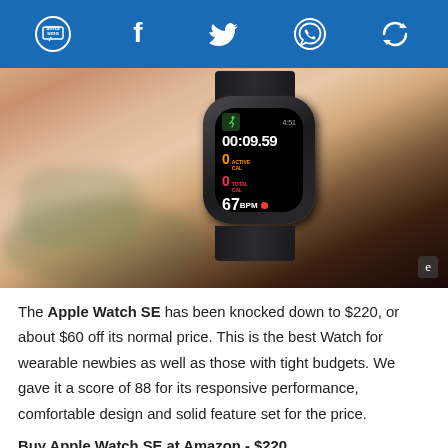[Figure (other): Social sharing top bar with SMS, Facebook, Twitter, WhatsApp, and share icons on blue background]
[Figure (photo): Close-up photo of an Apple Watch SE on a wrist showing a workout screen with timer 00:09.59, 0 Active Cal, 0 Total Cal, 67 BPM with orange dot. Engadget watermark in bottom-right corner.]
The Apple Watch SE has been knocked down to $220, or about $60 off its normal price. This is the best Watch for wearable newbies as well as those with tight budgets. We gave it a score of 88 for its responsive performance, comfortable design and solid feature set for the price.
Buy Apple Watch SE at Amazon - $220